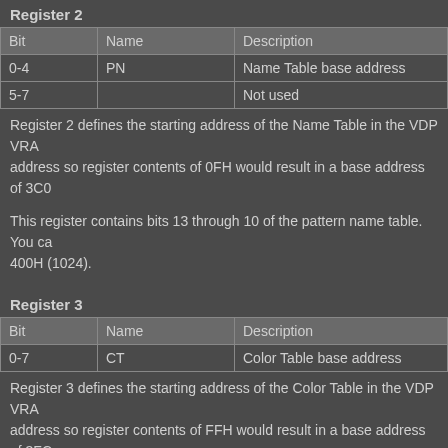Register 2
| Bit | Name | Description |
| --- | --- | --- |
| 0-4 | PN | Name Table base address |
| 5-7 |  | Not used |
Register 2 defines the starting address of the Name Table in the VDP VRAM. address so register contents of 0FH would result in a base address of 3C0...
This register contains bits 13 through 10 of the pattern name table. You can... 400H (1024).
Register 3
| Bit | Name | Description |
| --- | --- | --- |
| 0-7 | CT | Color Table base address |
Register 3 defines the starting address of the Color Table in the VDP VRAM. address so register contents of FFH would result in a base address of 3FC... Bits 0 to 6 must be 1.
This register contain bits 13 through 6 of the pattern Color table. You can ca... (64). In screen mode 2, this register has a different function.
Register 4